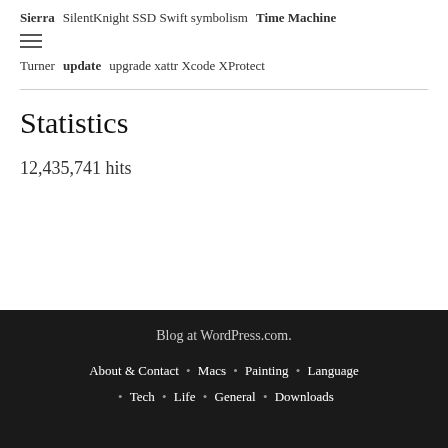Sierra SilentKnight SSD Swift symbolism Time Machine ≡ Turner update upgrade xattr Xcode XProtect
Statistics
12,435,741 hits
Blog at WordPress.com. About & Contact · Macs · Painting · Language · Tech · Life · General · Downloads